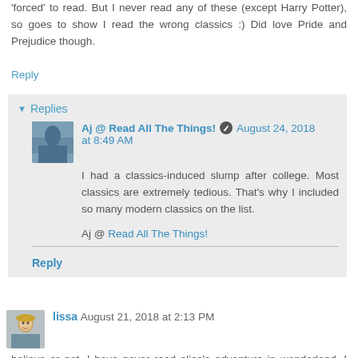'forced' to read. But I never read any of these (except Harry Potter), so goes to show I read the wrong classics :) Did love Pride and Prejudice though.
Reply
Replies
Aj @ Read All The Things! August 24, 2018 at 8:49 AM
I had a classics-induced slump after college. Most classics are extremely tedious. That's why I included so many modern classics on the list.
Aj @ Read All The Things!
Reply
lissa August 21, 2018 at 2:13 PM
believe or not, I have never read alice's adventure in wonderland. I don't know what it is, every time I thought to